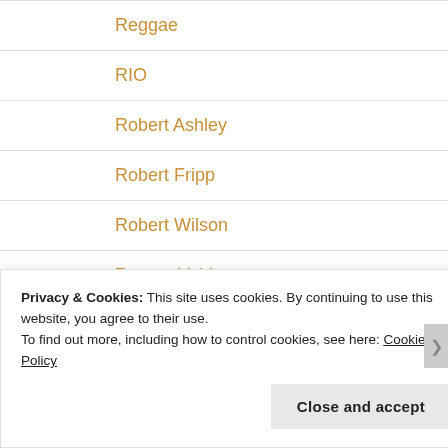Reggae
RIO
Robert Ashley
Robert Fripp
Robert Wilson
Romeo Void
Sex Pistols
Privacy & Cookies: This site uses cookies. By continuing to use this website, you agree to their use.
To find out more, including how to control cookies, see here: Cookie Policy
Close and accept